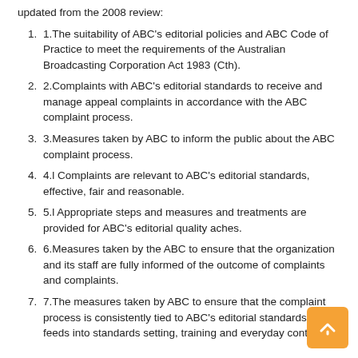updated from the 2008 review:
1.The suitability of ABC's editorial policies and ABC Code of Practice to meet the requirements of the Australian Broadcasting Corporation Act 1983 (Cth).
2.Complaints with ABC's editorial standards to receive and manage appeal complaints in accordance with the ABC complaint process.
3.Measures taken by ABC to inform the public about the ABC complaint process.
4.l Complaints are relevant to ABC's editorial standards, effective, fair and reasonable.
5.l Appropriate steps and measures and treatments are provided for ABC's editorial quality aches.
6.Measures taken by the ABC to ensure that the organization and its staff are fully informed of the outcome of complaints and complaints.
7.The measures taken by ABC to ensure that the complaint process is consistently tied to ABC's editorial standards, and feeds into standards setting, training and everyday content.